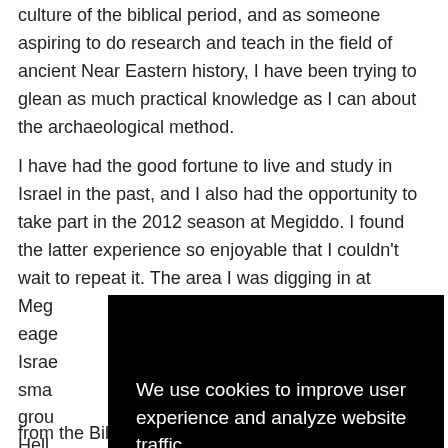culture of the biblical period, and as someone aspiring to do research and teach in the field of ancient Near Eastern history, I have been trying to glean as much practical knowledge as I can about the archaeological method.
I have had the good fortune to live and study in Israel in the past, and I also had the opportunity to take part in the 2012 season at Megiddo. I found the latter experience so enjoyable that I couldn't wait to repeat it. The area I was digging in at Megiddo... eager... Israel... small... ground... Hell...
[Figure (screenshot): Cookie consent overlay with black background. Text reads 'We use cookies to improve user experience and analyze website traffic.' with a red Accept button.]
from the Biblical Archaeology Society. I jetted off